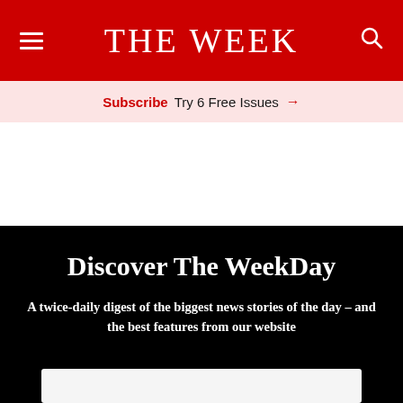THE WEEK
Subscribe  Try 6 Free Issues →
Discover The WeekDay
A twice-daily digest of the biggest news stories of the day – and the best features from our website